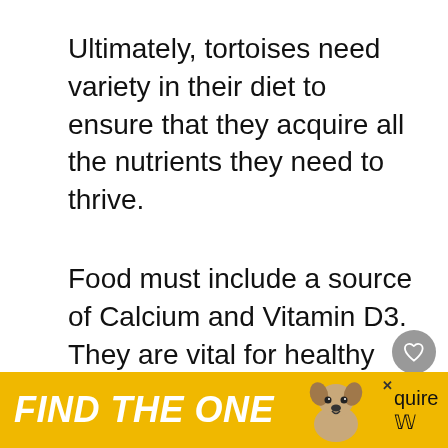Ultimately, tortoises need variety in their diet to ensure that they acquire all the nutrients they need to thrive.
Food must include a source of Calcium and Vitamin D3. They are vital for healthy bones as mentioned earlier.
Make sure you offer foods that are
[Figure (other): Yellow advertisement banner at the bottom reading 'FIND THE ONE' in bold white italic text with a dog image and a close (x) button]